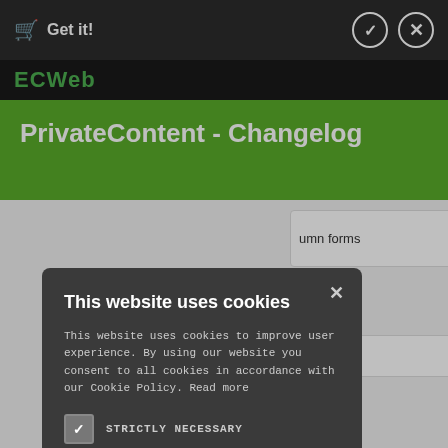Get it!
PrivateContent - Changelog
umn forms
suddently
This website uses cookies
This website uses cookies to improve user experience. By using our website you consent to all cookies in accordance with our Cookie Policy. Read more
STRICTLY NECESSARY
PERFORMANCE
ACCEPT ALL
DECLINE ALL
SHOW DETAILS